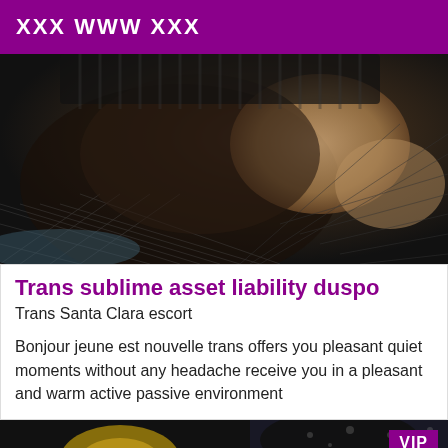XXX WWW XXX
[Figure (photo): Close-up photo of a person wearing fishnet stockings/clothing, dark tones]
Trans sublime asset liability duspo
Trans Santa Clara escort
Bonjour jeune est nouvelle trans offers you pleasant quiet moments without any headache receive you in a pleasant and warm active passive environment
[Figure (photo): Partial photo of a person with golden decorative element, VIP badge overlay]